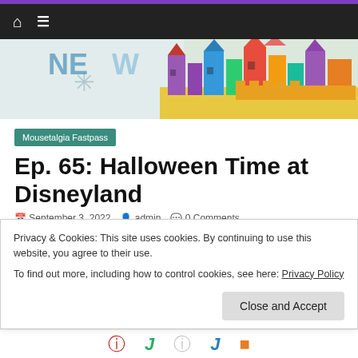[Figure (screenshot): Website screenshot showing a Disneyland-themed banner with colorful castle illustration and 'NEWS' text]
Mousetalgia Fastpass
Ep. 65: Halloween Time at Disneyland
September 3, 2022   admin   0 Comments
Episode 65- September 2nd, 2022 We are LIVE from the
Privacy & Cookies: This site uses cookies. By continuing to use this website, you agree to their use.
To find out more, including how to control cookies, see here: Privacy Policy
Close and Accept